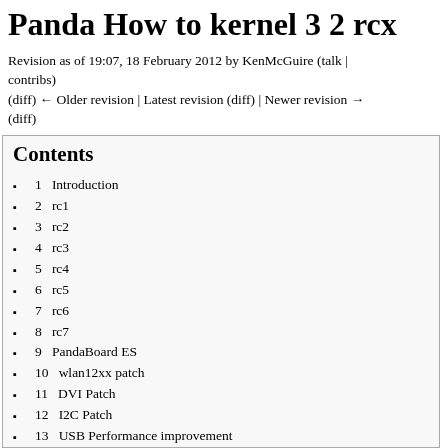Panda How to kernel 3 2 rcx
Revision as of 19:07, 18 February 2012 by KenMcGuire (talk | contribs)
(diff) ← Older revision | Latest revision (diff) | Newer revision → (diff)
Contents
1  Introduction
2  rc1
3  rc2
4  rc3
5  rc4
6  rc5
7  rc6
8  rc7
9  PandaBoard ES
10  wlan12xx patch
11  DVI Patch
12  I2C Patch
13  USB Performance improvement